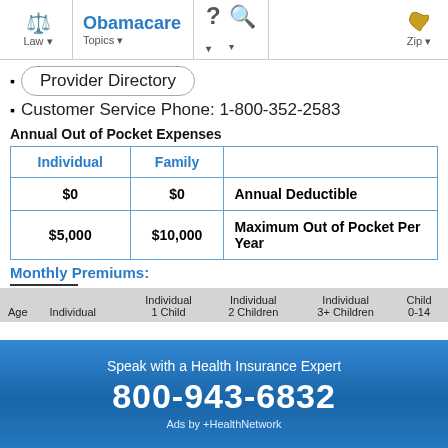Obamacare — Law | Topics | ? | Search | Zip
Provider Directory
Customer Service Phone: 1-800-352-2583
Annual Out of Pocket Expenses
| Individual | Family |  |
| --- | --- | --- |
| $0 | $0 | Annual Deductible |
| $5,000 | $10,000 | Maximum Out of Pocket Per Year |
Monthly Premiums:
| Age | Individual | Individual
1 Child | Individual
2 Children | Individual
3+ Children | Child
0-14 |
| --- | --- | --- | --- | --- | --- |
[Figure (screenshot): Ad banner: Speak with a Health Insurance Expert, phone 800-943-6832, Ads by +HealthNetwork]